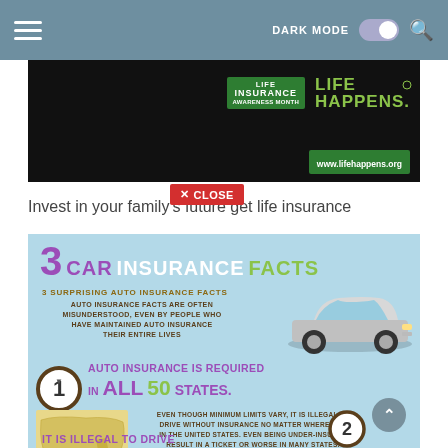DARK MODE  [toggle]  [search]
[Figure (photo): Life Insurance Awareness Month banner with dark background, car silhouette, Life Insurance Awareness Month logo and Life Happens logo in green, www.lifehappens.org URL]
[Figure (infographic): Close button overlay: X CLOSE in red]
Invest in your family's future get life insurance
[Figure (infographic): 3 Car Insurance Facts infographic on light blue background. Heading: 3 CAR INSURANCE FACTS. Subheading: 3 SURPRISING AUTO INSURANCE FACTS. Body: AUTO INSURANCE FACTS ARE OFTEN MISUNDERSTOOD, EVEN BY PEOPLE WHO HAVE MAINTAINED AUTO INSURANCE THEIR ENTIRE LIVES. Fact 1: AUTO INSURANCE IS REQUIRED IN ALL 50 STATES. Detail: EVEN THOUGH MINIMUM LIMITS VARY, IT IS ILLEGAL TO DRIVE WITHOUT INSURANCE NO MATTER WHERE YOU IN THE UNITED STATES. EVEN BEING UNDER-INSURED RESULT IN A TICKET OR WORSE IN MANY STATES. Bottom text: IT IS ILLEGAL TO DRIVE]